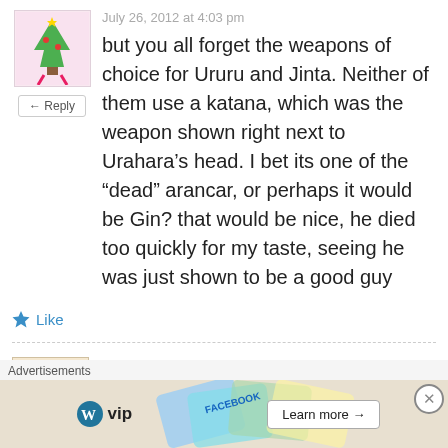July 26, 2012 at 4:03 pm
but you all forget the weapons of choice for Ururu and Jinta. Neither of them use a katana, which was the weapon shown right next to Urahara’s head. I bet its one of the “dead” arancar, or perhaps it would be Gin? that would be nice, he died too quickly for my taste, seeing he was just shown to be a good guy
Like
[Figure (illustration): Cartoon avatar of a character with green Christmas tree on pink background]
← Reply
Sunite
July 26, 2012 at 5:36 pm
[Figure (illustration): Cartoon avatar of a round orange creature with small antennae on light background]
Advertisements
[Figure (infographic): WordPress VIP advertisement banner with Learn more button and abstract card background]